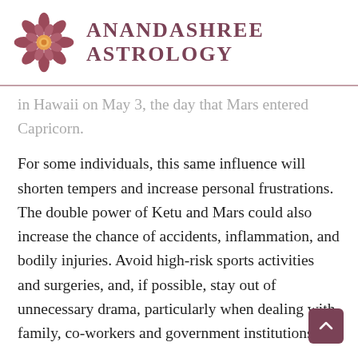[Figure (logo): Anandashree Astrology logo: decorative mandala/flower pattern in terracotta and gold tones, with text ANANDASHREE ASTROLOGY in dark mauve uppercase serif font]
in Hawaii on May 3, the day that Mars entered Capricorn.
For some individuals, this same influence will shorten tempers and increase personal frustrations. The double power of Ketu and Mars could also increase the chance of accidents, inflammation, and bodily injuries. Avoid high-risk sports activities and surgeries, and, if possible, stay out of unnecessary drama, particularly when dealing with family, co-workers and government institutions.